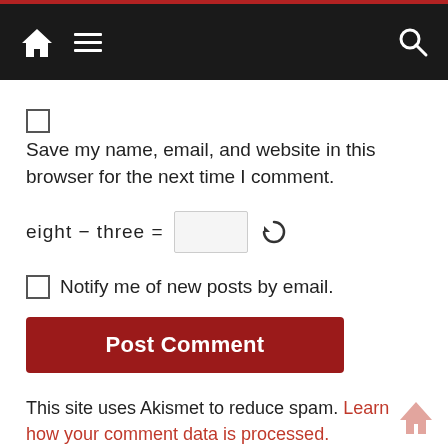Navigation bar with home, menu, and search icons
Save my name, email, and website in this browser for the next time I comment.
eight − three =  [input box] [refresh icon]
Notify me of new posts by email.
Post Comment
This site uses Akismet to reduce spam. Learn how your comment data is processed.